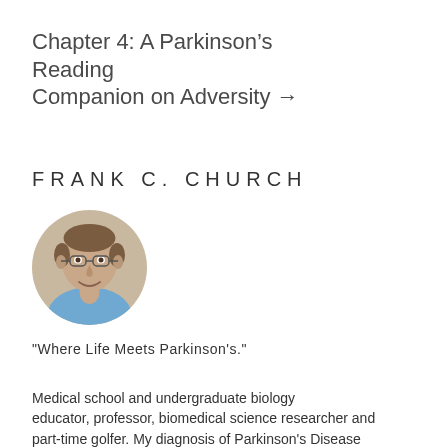Chapter 4: A Parkinson’s Reading Companion on Adversity →
FRANK C. CHURCH
[Figure (photo): Headshot photo of Frank C. Church, a middle-aged man with glasses and short hair, smiling, wearing a blue shirt, circular crop]
"Where Life Meets Parkinson's."
Medical school and undergraduate biology educator, professor, biomedical science researcher and part-time golfer. My diagnosis of Parkinson's Disease